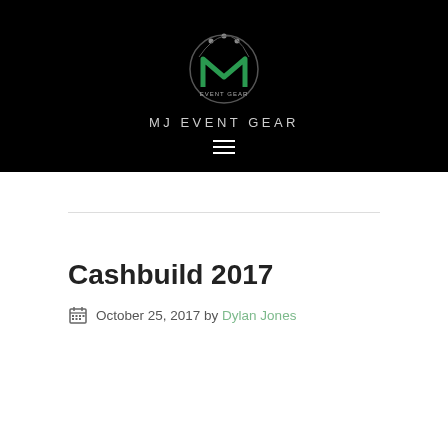[Figure (logo): MJ Event Gear logo: green stylized MJ letters with arc and three small figures on top, circular badge with EVENT GEAR text]
MJ EVENT GEAR
Cashbuild 2017
October 25, 2017 by Dylan Jones